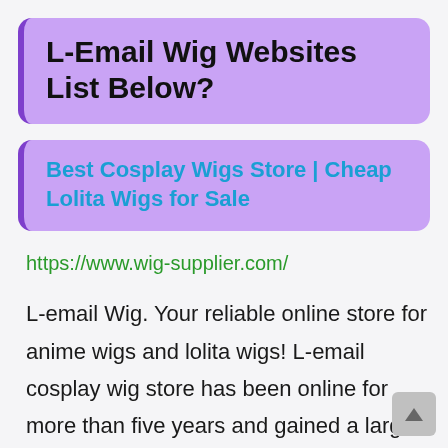L-Email Wig Websites List Below?
Best Cosplay Wigs Store | Cheap Lolita Wigs for Sale
https://www.wig-supplier.com/
L-email Wig. Your reliable online store for anime wigs and lolita wigs! L-email cosplay wig store has been online for more than five years and gained a large number of loyal fans all over the world. We appreciate your support